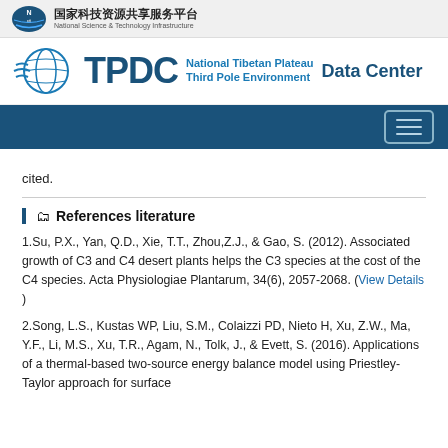国家科技资源共享服务平台 National Science & Technology Infrastructure
[Figure (logo): TPDC National Tibetan Plateau Third Pole Environment Data Center logo with globe icon]
cited.
References literature
1.Su, P.X., Yan, Q.D., Xie, T.T., Zhou,Z.J., & Gao, S. (2012). Associated growth of C3 and C4 desert plants helps the C3 species at the cost of the C4 species. Acta Physiologiae Plantarum, 34(6), 2057-2068. (View Details )
2.Song, L.S., Kustas WP, Liu, S.M., Colaizzi PD, Nieto H, Xu, Z.W., Ma, Y.F., Li, M.S., Xu, T.R., Agam, N., Tolk, J., & Evett, S. (2016). Applications of a thermal-based two-source energy balance model using Priestley-Taylor approach for surface